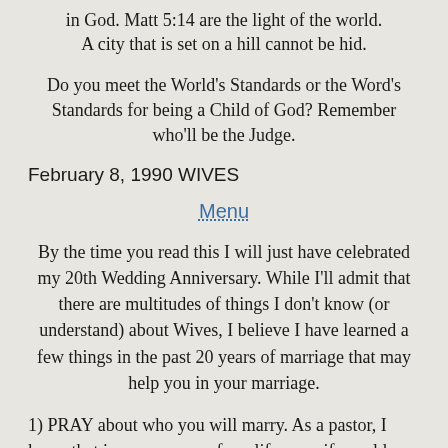in God. Matt 5:14 are the light of the world. A city that is set on a hill cannot be hid.
Do you meet the World's Standards or the Word's Standards for being a Child of God? Remember who'll be the Judge.
February 8, 1990 WIVES
Menu
By the time you read this I will just have celebrated my 20th Wedding Anniversary. While I'll admit that there are multitudes of things I don't know (or understand) about Wives, I believe I have learned a few things in the past 20 years of marriage that may help you in your marriage.
1) PRAY about who you will marry. As a pastor, I knew that in many areas of my life my wife could "make or